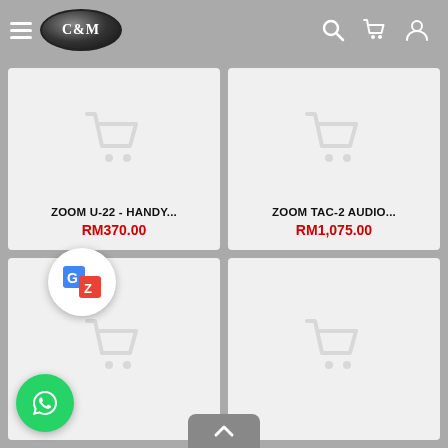[Figure (screenshot): C&M store navigation bar with hamburger menu, C&M oval logo, search icon, cart icon, and user icon]
ZOOM U-22 - HANDY...
RM370.00
ZOOM TAC-2 AUDIO...
RM1,075.00